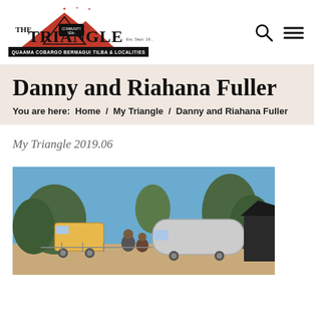[Figure (logo): The Triangle Community News logo with red mountain/triangle graphic, text 'THE TRIANGLE COMMUNITY NEWS', subtitle 'QUAAMA COBARGO BERMAGUI TILBA & LOCALITIES', and 'Est. Sept. 19...' text]
Danny and Riahana Fuller
You are here:  Home  /  My Triangle  /  Danny and Riahana Fuller
My Triangle 2019.06
[Figure (photo): Outdoor photo showing two people standing in front of old/vintage caravans or trailers, with trees in the background and a blue sky.]